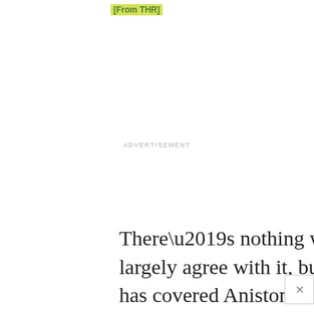[From THR]
ADVERTISEMENT
There’s nothing wrong with what she says and I largely agree with it, but I’ll say this, as someone who has covered Aniston for years: she really coasts on people not remembering (or not wanting to remember) her own words and actions. She acts like all of this – the “girl next door” stereotyping, the interest in her